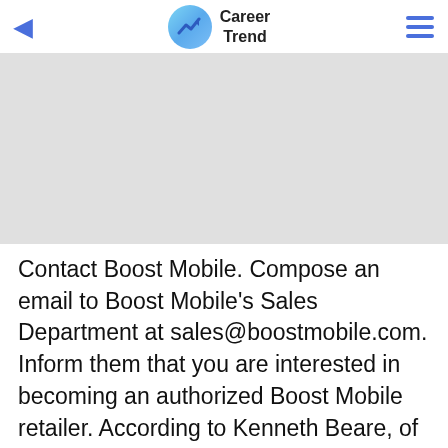Career Trend
[Figure (screenshot): Gray advertisement placeholder banner]
Contact Boost Mobile. Compose an email to Boost Mobile's Sales Department at sales@boostmobile.com. Inform them that you are interested in becoming an authorized Boost Mobile retailer. According to Kenneth Beare, of About.com, business emails are less formal than business